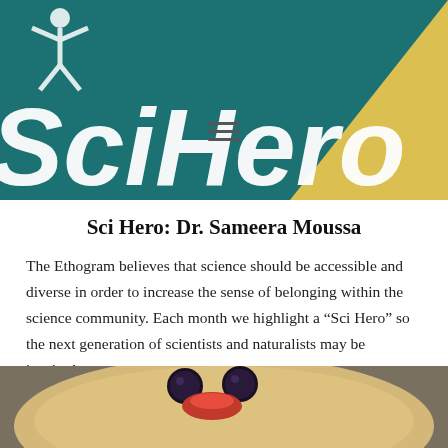[Figure (photo): SciHero banner with teal background, large white bold italic 'SciHero' text, a yellow triangle in the top right corner, and a stylized figure at the top left. A hamburger menu icon appears in the center.]
Sci Hero: Dr. Sameera Moussa
The Ethogram believes that science should be accessible and diverse in order to increase the sense of belonging within the science community. Each month we highlight a “Sci Hero” so the next generation of scientists and naturalists may be inspired.
[Figure (photo): Close-up photograph of a bowl of oatmeal or porridge topped with blueberries arranged to look like eyes and a strawberry slice as a mouth, making a smiley face.]